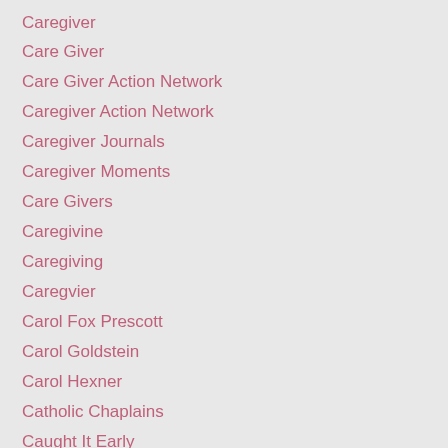Caregiver
Care Giver
Care Giver Action Network
Caregiver Action Network
Caregiver Journals
Caregiver Moments
Care Givers
Caregivine
Caregiving
Caregvier
Carol Fox Prescott
Carol Goldstein
Carol Hexner
Catholic Chaplains
Caught It Early
CDC
Cecil
Cecil The Lion
Cedric Rucker